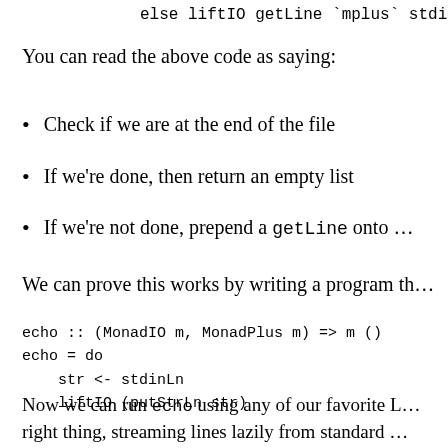else liftIO getLine `mplus` stdinLn
You can read the above code as saying:
Check if we are at the end of the file
If we're done, then return an empty list
If we're not done, prepend a getLine onto …
We can prove this works by writing a program th…
echo :: (MonadIO m, MonadPlus m) => m ()
echo = do
    str <- stdinLn
    liftIO (putStrLn str)
Now we can run echo using any of our favorite L… right thing, streaming lines lazily from standard …